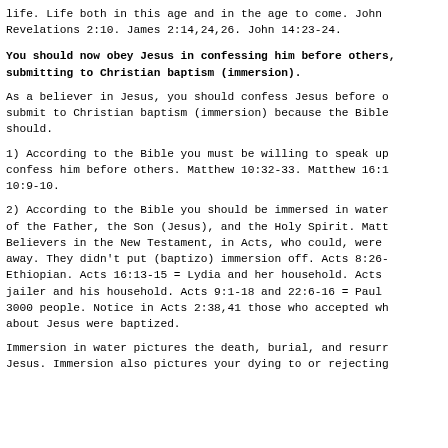life. Life both in this age and in the age to come. John Revelations 2:10. James 2:14,24,26. John 14:23-24.
You should now obey Jesus in confessing him before others, submitting to Christian baptism (immersion).
As a believer in Jesus, you should confess Jesus before others and submit to Christian baptism (immersion) because the Bible says you should.
1) According to the Bible you must be willing to speak up and confess him before others. Matthew 10:32-33. Matthew 16:1 Romans 10:9-10.
2) According to the Bible you should be immersed in water in the name of the Father, the Son (Jesus), and the Holy Spirit. Matthew 28:19. Believers in the New Testament, in Acts, who could, were immersed right away. They didn't put (baptizo) immersion off. Acts 8:26- = Ethiopian. Acts 16:13-15 = Lydia and her household. Acts 16:... = jailer and his household. Acts 9:1-18 and 22:6-16 = Paul. Acts 2:41 = 3000 people. Notice in Acts 2:38,41 those who accepted what was said about Jesus were baptized.
Immersion in water pictures the death, burial, and resurrection of Jesus. Immersion also pictures your dying to or rejecting of...